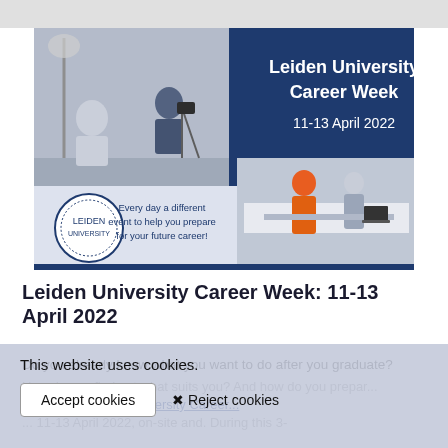[Figure (infographic): Leiden University Career Week banner: 11-13 April 2022. Shows students at a photo shoot on the left, Leiden University logo with text 'Every day a different event to help you prepare for your future career!' in the middle, and two students at a career fair booth on the right. Dark blue background with white text.]
Leiden University Career Week: 11-13 April 2022
Do you already know what you want to do after you graduate? How do you find out what suits you? And how do you prepare? ... Visit the Leiden University Career ... 11-13 April 2022, on-site and. During this 3-d ...
This website uses cookies.